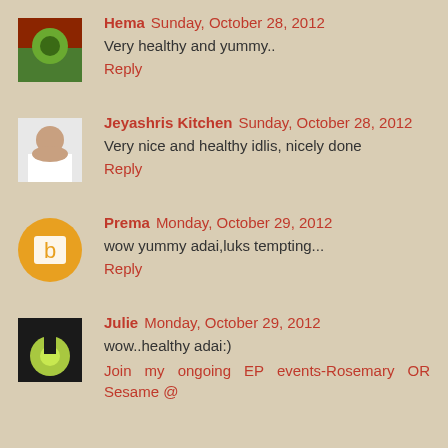Hema Sunday, October 28, 2012
Very healthy and yummy..
Reply
Jeyashris Kitchen Sunday, October 28, 2012
Very nice and healthy idlis, nicely done
Reply
Prema Monday, October 29, 2012
wow yummy adai,luks tempting...
Reply
Julie Monday, October 29, 2012
wow..healthy adai:)
Join my ongoing EP events-Rosemary OR Sesame @